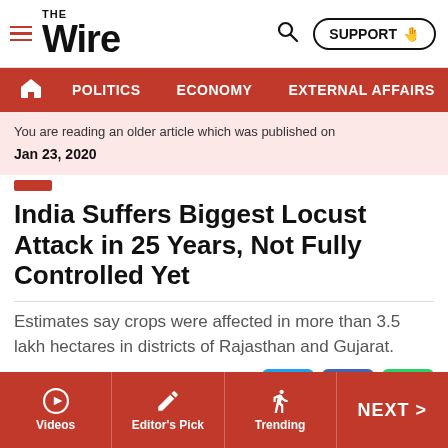THE WIRE — navigation header with POLITICS, ECONOMY, EXTERNAL AFFAIRS, SECU...
You are reading an older article which was published on
Jan 23, 2020
India Suffers Biggest Locust Attack in 25 Years, Not Fully Controlled Yet
Estimates say crops were affected in more than 3.5 lakh hectares in districts of Rajasthan and Gujarat.
Jan 23, 2020 | Shruti Jain
Videos | Editor's Pick | Trending | NEXT >